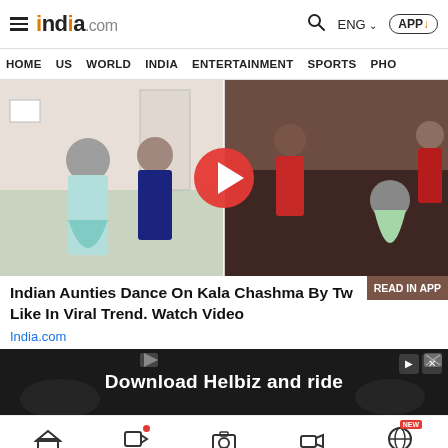india.com — HOME  US  WORLD  INDIA  ENTERTAINMENT  SPORTS  PHO
[Figure (screenshot): Video thumbnail showing Indian women dancing; split-frame with two scenes from a dance event.]
Indian Aunties Dance On Kala Chashma By Tw Like In Viral Trend. Watch Video
India.com
[Figure (screenshot): Advertisement banner: Download Helbiz and ride]
Bottom navigation bar with home, video, camera, video-camera, and globe icons